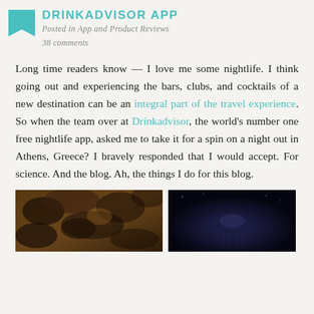DRINKADVISOR APP
Posted in App and Product Reviews
38 comments
Long time readers know — I love me some nightlife. I think going out and experiencing the bars, clubs, and cocktails of a new destination can be an integral part of the travel experience. So when the team over at Drinkadvisor, the world's number one free nightlife app, asked me to take it for a spin on a night out in Athens, Greece? I bravely responded that I would accept. For science. And the blog. Ah, the things I do for this blog.
[Figure (photo): Two photos side by side: left photo shows warm-toned dark nightlife/plant scene; right photo shows a dark blue-toned nighttime scene]